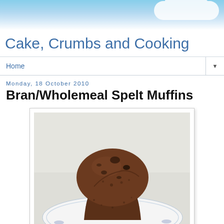[Figure (photo): Blog header banner with blue sky and white clouds background]
Cake, Crumbs and Cooking
Home
Monday, 18 October 2010
Bran/Wholemeal Spelt Muffins
[Figure (photo): A dark brown bran/wholemeal spelt muffin with chocolate chips, sitting on a decorative blue and white plate, against a white background.]